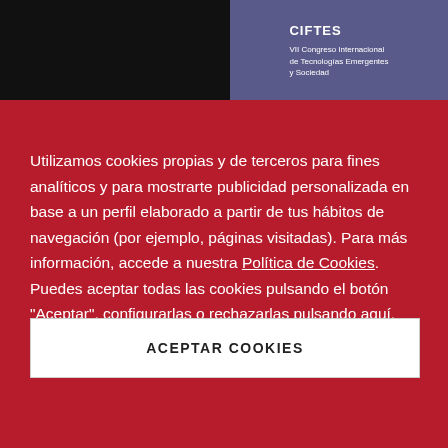[Figure (screenshot): Top banner showing black section on left and dark blue/purple section on right with text 'VII Congreso Internacional de Tecnologías Emergentes y Sociedad']
Utilizamos cookies propias y de terceros para fines analíticos y para mostrarte publicidad personalizada en base a un perfil elaborado a partir de tus hábitos de navegación (por ejemplo, páginas visitadas). Para más información, accede a nuestra Política de Cookies. Puedes aceptar todas las cookies pulsando el botón "Aceptar", configurarlas o rechazarlas pulsando aquí.
ACEPTAR COOKIES